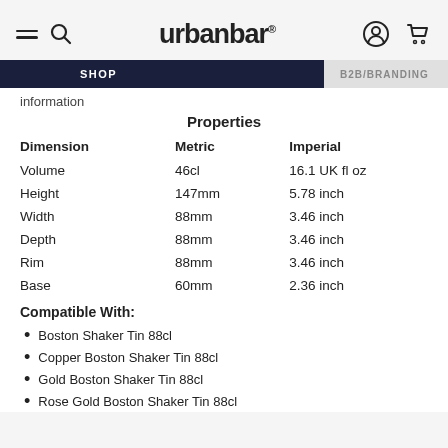urbanbar
information
Properties
| Dimension | Metric | Imperial |
| --- | --- | --- |
| Volume | 46cl | 16.1 UK fl oz |
| Height | 147mm | 5.78 inch |
| Width | 88mm | 3.46 inch |
| Depth | 88mm | 3.46 inch |
| Rim | 88mm | 3.46 inch |
| Base | 60mm | 2.36 inch |
Compatible With:
Boston Shaker Tin 88cl
Copper Boston Shaker Tin 88cl
Gold Boston Shaker Tin 88cl
Rose Gold Boston Shaker Tin 88cl